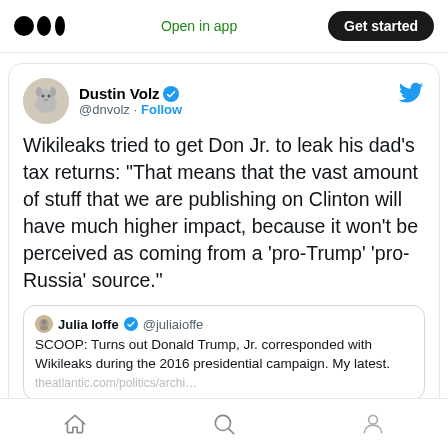Open in app | Get started
[Figure (screenshot): Tweet by Dustin Volz (@dnvolz) with verified badge and Follow link, Twitter bird logo top right. Tweet text: Wikileaks tried to get Don Jr. to leak his dad's tax returns: “That means that the vast amount of stuff that we are publishing on Clinton will have much higher impact, because it won’t be perceived as coming from a ‘pro-Trump’ ‘pro-Russia’ source.” Quoted tweet by Julia Ioffe (@juliaioffe): SCOOP: Turns out Donald Trump, Jr. corresponded with Wikileaks during the 2016 presidential campaign. My latest.]
Home | Search | Profile